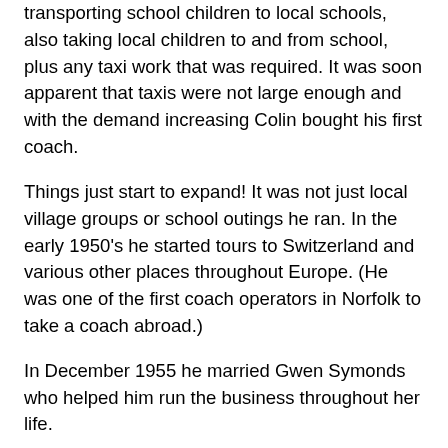transporting school children to local schools, also taking local children to and from school, plus any taxi work that was required. It was soon apparent that taxis were not large enough and with the demand increasing Colin bought his first coach.
Things just start to expand! It was not just local village groups or school outings he ran. In the early 1950's he started tours to Switzerland and various other places throughout Europe. (He was one of the first coach operators in Norfolk to take a coach abroad.)
In December 1955 he married Gwen Symonds who helped him run the business throughout her life.
Over the next few decades the business expanded rapidly and at one stage operated 30 vehicles from the same original base at Wreningham.
Colin always came up with new ideas, being the first company in Norfolk to have coaches adapted for the disabled that took fixed wheel chairs so customers who were wheel chair bound could go out for the day. The first to have large seating capacity coaches up to 57 seats in Norfolk.Colin and his wife retired from the day to